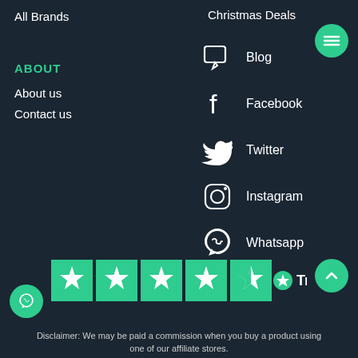All Brands
Christmas Deals
ABOUT
About us
Contact us
Blog
Facebook
Twitter
Instagram
Whatsapp
[Figure (logo): Trustpilot logo with 4.5 star rating displayed in green and white]
Disclaimer: We may be paid a commission when you buy a product using one of our affiliate stores.